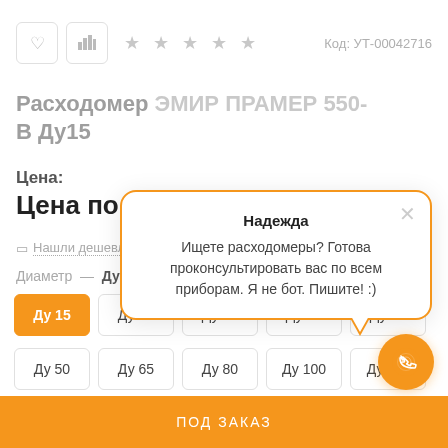[Figure (screenshot): Product page UI screenshot showing icons, stars, product code, product title, price, diameter selector, chat popup overlay, phone button, and bottom order bar]
Код: УТ-00042716
Расходомер ЭМИР ПРАМЕР 550-В Ду15
Цена:
Цена по з
Нашли дешевле?
Диаметр — Ду15
Ду 15
Ду 20
Ду 25
Ду 32
Ду 40
Ду 50
Ду 65
Ду 80
Ду 100
Ду 1...
Надежда
Ищете расходомеры? Готова проконсультировать вас по всем приборам. Я не бот. Пишите! :)
ПОД ЗАКАЗ